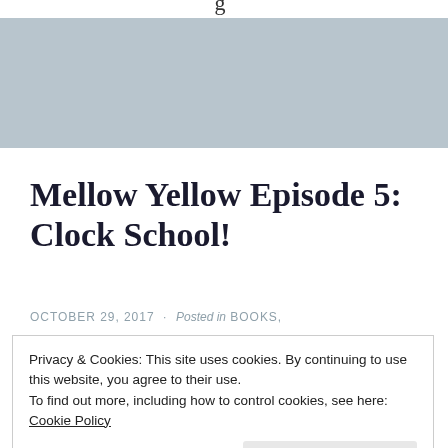g
[Figure (other): Gray banner image placeholder area]
Mellow Yellow Episode 5: Clock School!
OCTOBER 29, 2017 · Posted in BOOKS,
Privacy & Cookies: This site uses cookies. By continuing to use this website, you agree to their use.
To find out more, including how to control cookies, see here:
Cookie Policy
Close and accept